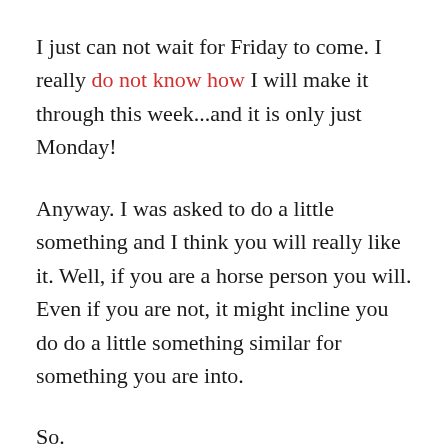I just can not wait for Friday to come. I really do not know how I will make it through this week...and it is only just Monday!
Anyway. I was asked to do a little something and I think you will really like it. Well, if you are a horse person you will. Even if you are not, it might incline you do do a little something similar for something you are into.
So.
You know those monthly box subscriptions? Ya, you know the ones I am talking about. You pay a fee and get a box of stuff every month or every quarter. Best